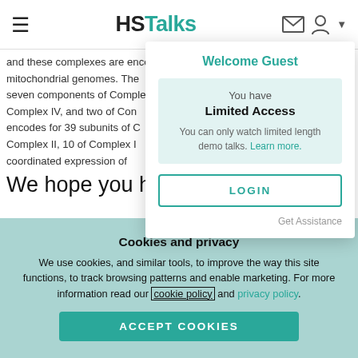HSTalks
and these complexes are encoded by both nuclear and mitochondrial genomes. The seven components of Complex I, Complex IV, and two of Complex... encodes for 39 subunits of Complex I, Complex II, 10 of Complex I... coordinated expression of
We hope you have
[Figure (screenshot): Welcome Guest dropdown popup showing Limited Access message with LOGIN button and Get Assistance link]
Cookies and privacy
We use cookies, and similar tools, to improve the way this site functions, to track browsing patterns and enable marketing. For more information read our cookie policy and privacy policy.
ACCEPT COOKIES